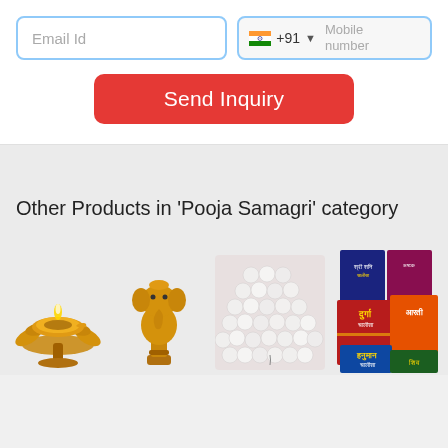[Figure (screenshot): Web form with Email Id input field and phone number field with India flag +91 code and Mobile number label]
[Figure (screenshot): Red Send Inquiry button]
Other Products in 'Pooja Samagri' category
[Figure (photo): Brass diya (oil lamp) with lotus base]
[Figure (photo): Brass Ganesha idol on a stand]
[Figure (photo): White pearl/bead mala (prayer beads)]
[Figure (photo): Collection of Hindi religious booklets including Durga, Hanuman Chalisa, Shani Chalisa and others]